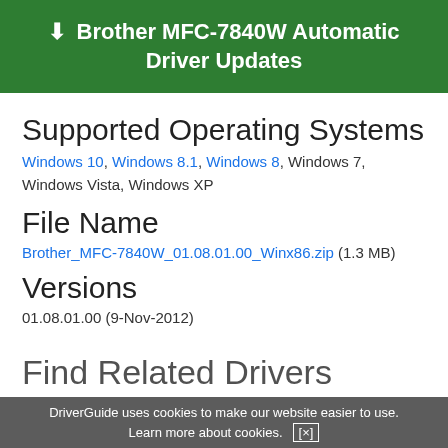[Figure (other): Green banner with download icon and text: Brother MFC-7840W Automatic Driver Updates]
Supported Operating Systems
Windows 10, Windows 8.1, Windows 8, Windows 7, Windows Vista, Windows XP
File Name
Brother_MFC-7840W_01.08.01.00_Winx86.zip (1.3 MB)
Versions
01.08.01.00 (9-Nov-2012)
Find Related Drivers
DriverGuide uses cookies to make our website easier to use.
Learn more about cookies. [x]